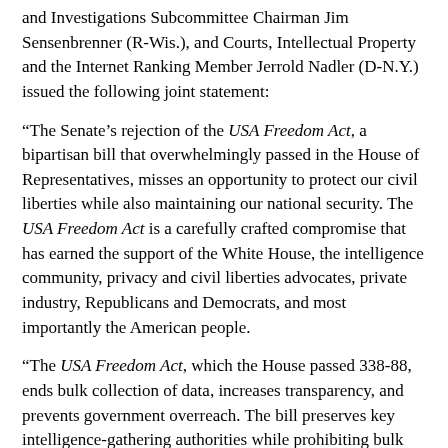and Investigations Subcommittee Chairman Jim Sensenbrenner (R-Wis.), and Courts, Intellectual Property and the Internet Ranking Member Jerrold Nadler (D-N.Y.) issued the following joint statement:
“The Senate’s rejection of the USA Freedom Act, a bipartisan bill that overwhelmingly passed in the House of Representatives, misses an opportunity to protect our civil liberties while also maintaining our national security. The USA Freedom Act is a carefully crafted compromise that has earned the support of the White House, the intelligence community, privacy and civil liberties advocates, private industry, Republicans and Democrats, and most importantly the American people.
“The USA Freedom Act, which the House passed 338-88, ends bulk collection of data, increases transparency, and prevents government overreach. The bill preserves key intelligence-gathering authorities while prohibiting bulk collection under Section 215, consistent with the Second Circuit Court of Appeals’ decision. Section 215 would remain a valuable counterterrorism tool for the FBI and a targeted call detail records authority would replace the NSA’s current, unlawful program.